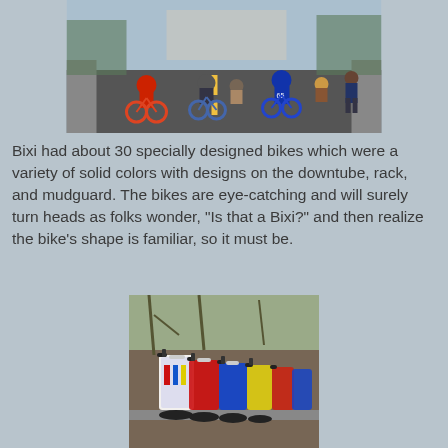[Figure (photo): Group of people riding Bixi bikes down a city street, wearing various colored jerseys and casual clothing. A person in a red jersey leads, others follow on blue and colored bikes.]
Bixi had about 30 specially designed bikes which were a variety of solid colors with designs on the downtube, rack, and mudguard. The bikes are eye-catching and will surely turn heads as folks wonder, "Is that a Bixi?" and then realize the bike's shape is familiar, so it must be.
[Figure (photo): A row of colorfully decorated Bixi bikes parked at a station, showing handlebars and frames in red, white, blue, and yellow with various artistic designs.]